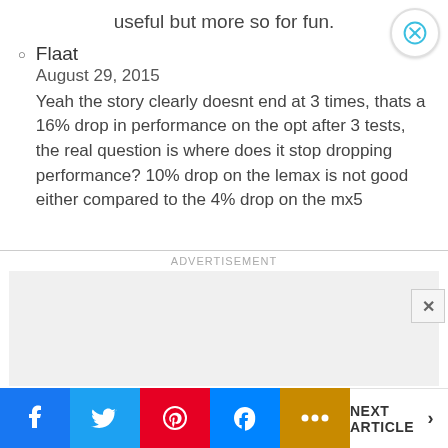useful but more so for fun.
Flaat
August 29, 2015
Yeah the story clearly doesnt end at 3 times, thats a 16% drop in performance on the opt after 3 tests, the real question is where does it stop dropping performance? 10% drop on the lemax is not good either compared to the 4% drop on the mx5
ADVERTISEMENT
NEXT ARTICLE >